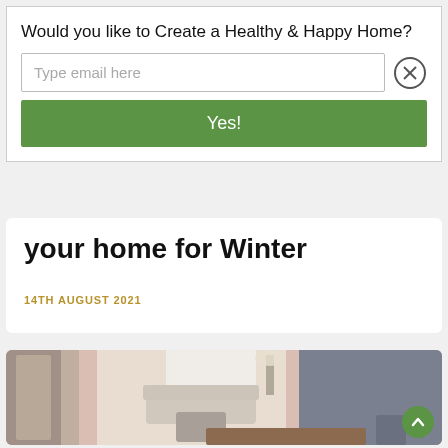Would you like to Create a Healthy & Happy Home?
Type email here
Yes!
your home for Winter
14TH AUGUST 2021
[Figure (photo): Interior room photo showing a bright living room with a sofa, armchairs, wooden floor, pink curtains, and a dining table in the foreground.]